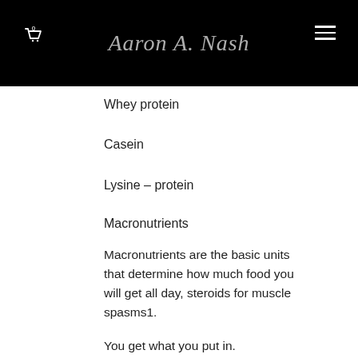Aaron A. Nash — navigation header with cart and hamburger menu
Whey protein
Casein
Lysine – protein
Macronutrients
Macronutrients are the basic units that determine how much food you will get all day, steroids for muscle spasms1.
You get what you put in.
In the food above, you get:
Carbohydrates (protein)